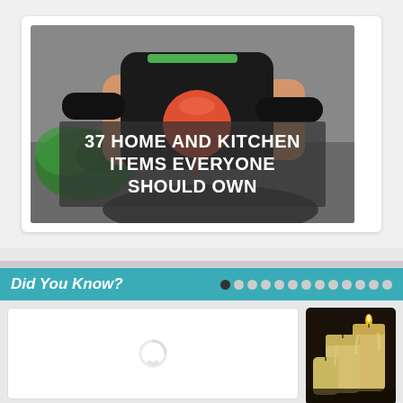[Figure (photo): Kitchen gadget (tomato slicer/dicer) being operated by hands, with herbs visible in background. Overlaid bold white text on dark semi-transparent background reads '37 HOME AND KITCHEN ITEMS EVERYONE SHOULD OWN']
37 HOME AND KITCHEN ITEMS EVERYONE SHOULD OWN
Did You Know?
[Figure (photo): Cream/yellow candles of various sizes grouped together, one lit, with wax dripping down sides, dark background]